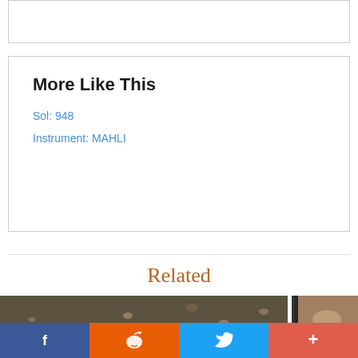More Like This
Sol: 948
Instrument: MAHLI
Related
[Figure (photo): Mars surface photo showing sandy/gravelly ground with small pebbles, taken by MAHLI instrument]
[Figure (photo): Partial view of a related Mars surface image showing rocky terrain]
f  reddit icon  Twitter bird  +